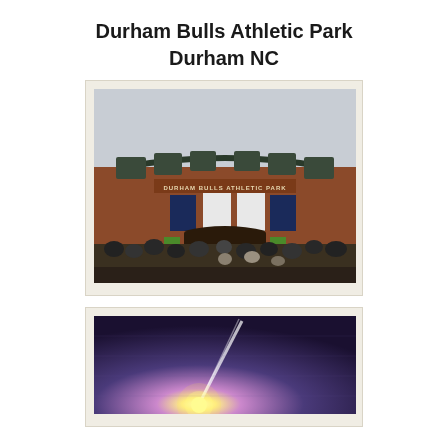Durham Bulls Athletic Park
Durham NC
[Figure (photo): Exterior photo of Durham Bulls Athletic Park, a brick stadium facade with large signage reading 'DURHAM BULLS ATHLETIC PARK', player banners, crowd of people in front entering the stadium, overcast sky.]
[Figure (photo): A dramatic sky photo with a bright sun near the horizon casting a lens flare streak of light upward across a dark purple/blue sky, likely taken at the baseball park.]